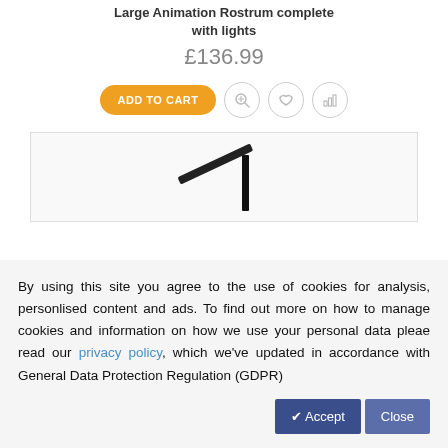Large Animation Rostrum complete with lights
£136.99
[Figure (screenshot): E-commerce product action buttons: orange 'ADD TO CART' pill button, and three circle icon buttons (zoom, wishlist, compare)]
[Figure (photo): Partial product image showing what appears to be a rostrum/animation stand with metal components visible]
By using this site you agree to the use of cookies for analysis, personlised content and ads. To find out more on how to manage cookies and information on how we use your personal data pleae read our privacy policy, which we've updated in accordance with General Data Protection Regulation (GDPR)